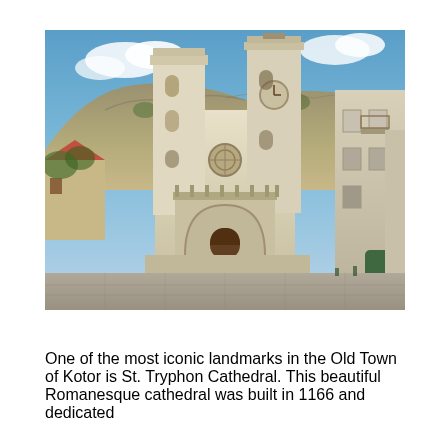[Figure (photo): Photograph of St. Tryphon Cathedral in the Old Town of Kotor, Montenegro. The image shows the Romanesque cathedral facade with two bell towers against a rocky mountain backdrop. The square in front of the cathedral is visible, with historic stone buildings on the right side.]
One of the most iconic landmarks in the Old Town of Kotor is St. Tryphon Cathedral. This beautiful Romanesque cathedral was built in 1166 and dedicated